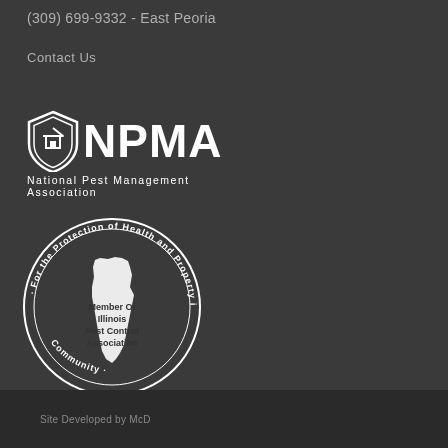(309) 699-9332 - East Peoria
Contact Us
[Figure (logo): NPMA - National Pest Management Association logo with shield icon and text]
[Figure (logo): Illinois Pest Control Association circular badge: 'For the Protection of Health and Property in our Community' with Illinois state silhouette and 'Member Of Illinois Pest Control Association' text]
Site Developed by McD